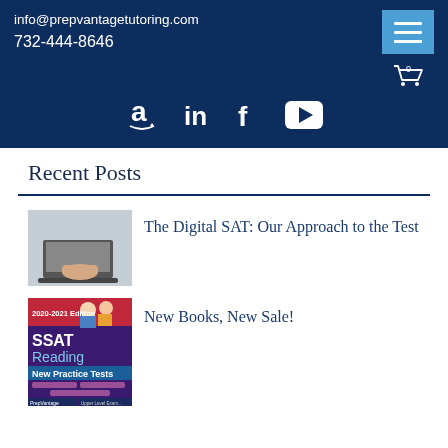info@prepvantagetutoring.com
732-444-8646
[Figure (screenshot): Navigation header with menu button and cart icon, plus social media icons for Amazon, LinkedIn, Facebook, and YouTube]
Recent Posts
[Figure (photo): Person typing on a laptop keyboard]
The Digital SAT: Our Approach to the Test
[Figure (photo): SSAT Reading New Practice Tests book cover, 2020-2021 Edition]
New Books, New Sale!